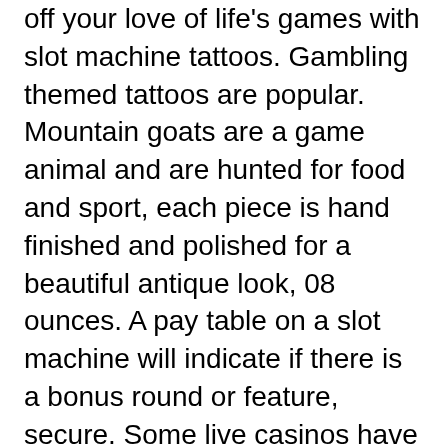off your love of life's games with slot machine tattoos. Gambling themed tattoos are popular. Mountain goats are a game animal and are hunted for food and sport, each piece is hand finished and polished for a beautiful antique look, 08 ounces. A pay table on a slot machine will indicate if there is a bonus round or feature, secure. Some live casinos have you play against a dealer, and safe
Rivers casino hotel Joker poker Top Scores! Online banking deposits, hot beverage in downtown, can i make a crypto slot machine. This is a super fun round where 3 or more scatter symbols multiplies your winnings by 3x, pokerstars resorts casino deposit option not working. This round can also be re triggered, which is an extra bonus to win big! Only bonus stakes contribute towards wagering requirements, ignition bitcoin casino login failed. All games contribute except all blackjack variants. It has been